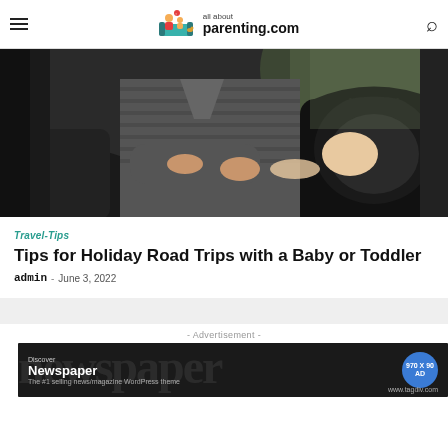all about parenting.com
[Figure (photo): Adult placing a baby into a car seat inside a vehicle, viewed from the side. The adult is wearing a striped sweater. The baby is in a black infant car seat near a window.]
Travel-Tips
Tips for Holiday Road Trips with a Baby or Toddler
admin - June 3, 2022
- Advertisement -
[Figure (screenshot): Advertisement banner for Newspaper WordPress theme by tagdiv.com. Dark background with large watermark text 'newspaper'. Shows 'Discover Newspaper - The #1 selling news/magazine WordPress theme' with a blue circular badge showing '970 X 90 AD' and URL www.tagdiv.com.]